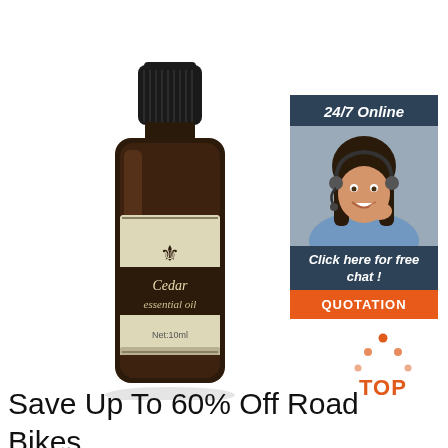[Figure (photo): A small dark amber glass bottle of Cedar essential oil, labeled 'Cedar essential oil Net:10ml' with a fleur-de-lis emblem, black cap, cream-colored label with dark brown band]
[Figure (infographic): 24/7 Online customer chat widget. Shows a smiling woman with headset, text 'Click here for free chat!' and orange 'QUOTATION' button]
[Figure (logo): Orange and red 'TOP' icon with dotted triangle above the text]
Save Up To 60% Off Road Bikes, Bicycles, Mountain Bikes